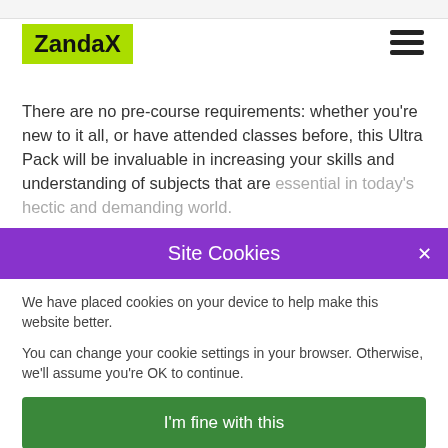[Figure (logo): ZandaX logo with green/yellow background]
There are no pre-course requirements: whether you're new to it all, or have attended classes before, this Ultra Pack will be invaluable in increasing your skills and understanding of subjects that are essential in today's hectic and demanding world.
Site Cookies
We have placed cookies on your device to help make this website better.
You can change your cookie settings in your browser. Otherwise, we'll assume you're OK to continue.
I'm fine with this
More information on the cookies we use and how to change your settings